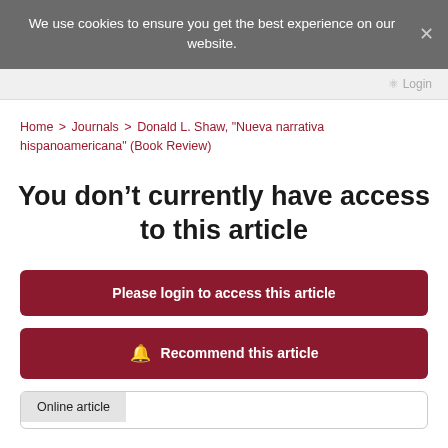We use cookies to ensure you get the best experience on our website.
Home > Journals > Donald L. Shaw, "Nueva narrativa hispanoamericana" (Book Review)
You don’t currently have access to this article
Please login to access this article
🔔 Recommend this article
Online article